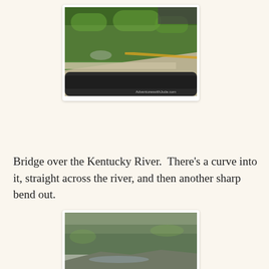[Figure (photo): View from inside a car on a bridge over a river, showing the bridge railing, road with yellow center line, dense green trees, and a watermark 'AdventureswithJude.com' in bottom right corner.]
Bridge over the Kentucky River.  There's a curve into it, straight across the river, and then another sharp bend out.
[Figure (photo): Aerial or elevated view of a river valley with dense green and grey-green forested hills, mist, and a river visible at the bottom of the valley.]